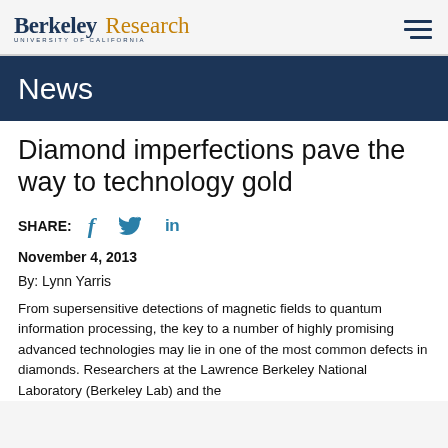Berkeley Research — UNIVERSITY OF CALIFORNIA
News
Diamond imperfections pave the way to technology gold
SHARE:
November 4, 2013
By: Lynn Yarris
From supersensitive detections of magnetic fields to quantum information processing, the key to a number of highly promising advanced technologies may lie in one of the most common defects in diamonds. Researchers at the Lawrence Berkeley National Laboratory (Berkeley Lab) and the